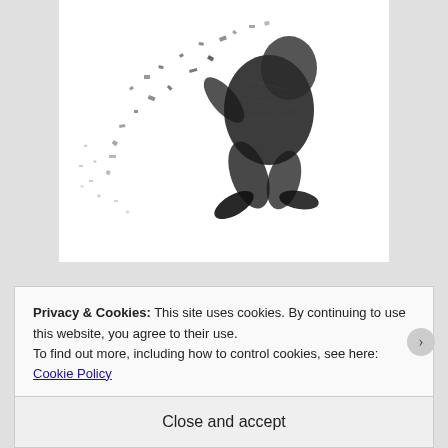[Figure (illustration): Black and white illustration of a human figure dissolving or fragmenting into scattered particles, set against a white background.]
The dance lessons were not working. He'd let Jeremy and Terri talk him into taking jazz dance and it worked out exactly like the yoga lessons, the tennis lessons, and the single, miserable trip
Privacy & Cookies: This site uses cookies. By continuing to use this website, you agree to their use.
To find out more, including how to control cookies, see here: Cookie Policy
Close and accept